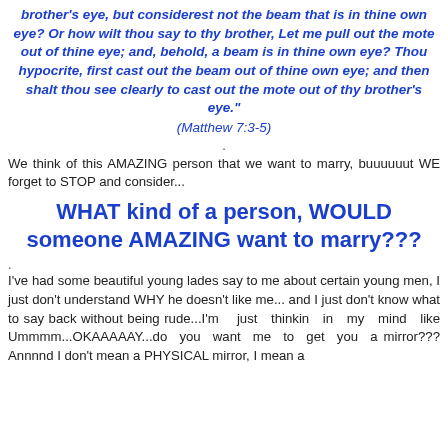brother's eye, but considerest not the beam that is in thine own eye? Or how wilt thou say to thy brother, Let me pull out the mote out of thine eye; and, behold, a beam is in thine own eye? Thou hypocrite, first cast out the beam out of thine own eye; and then shalt thou see clearly to cast out the mote out of thy brother's eye."
(Matthew 7:3-5)
.
We think of this AMAZING person that we want to marry, buuuuuut WE forget to STOP and consider...
WHAT kind of a person, WOULD someone AMAZING want to marry???
.
I've had some beautiful young lades say to me about certain young men, I just don't understand WHY he doesn't like me... and I just don't know what to say back without being rude...I'm just thinkin in my mind like Ummmm...OKAAAAAY...do you want me to get you a mirror??? Annnnd I don't mean a PHYSICAL mirror, I mean a